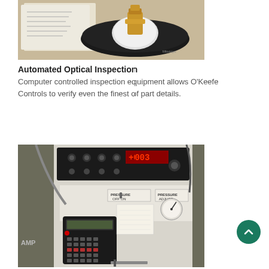[Figure (photo): Close-up photo of a black circular device with a gold metallic connector/fitting on a white base, placed on a clear plastic tray with papers in the background.]
Automated Optical Inspection
Computer controlled inspection equipment allows O'Keefe Controls to verify even the finest of part details.
[Figure (photo): Photo of industrial control/testing equipment panel showing knobs, digital display, pressure gauges labeled PRESSURE OFF/ON and PRESSURE ADJUST, a handheld keypad/controller with red LED indicator, and various cables and tools on a workbench.]